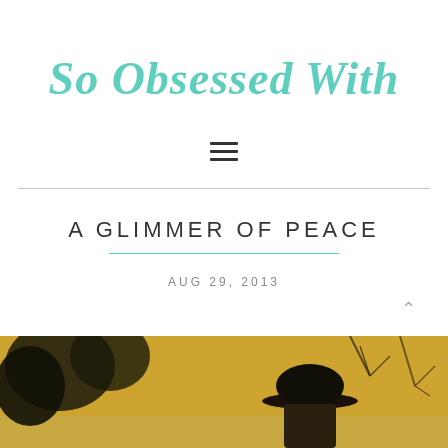So Obsessed With
[Figure (other): Hamburger/menu icon with three horizontal lines]
A GLIMMER OF PEACE
AUG 29, 2013
[Figure (photo): Sepia-toned outdoor photo showing a person wearing a dark bowler hat with trees in background against a golden sky]